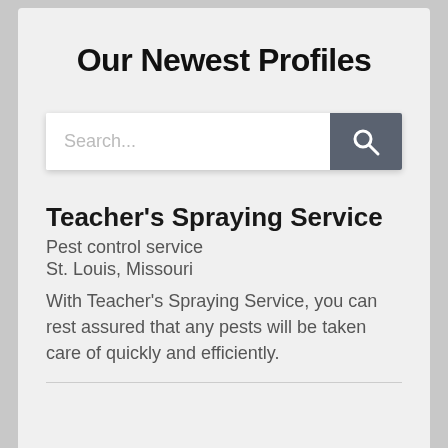Our Newest Profiles
[Figure (other): Search bar with text input placeholder 'Search...' and a dark grey search button with magnifying glass icon]
Teacher’s Spraying Service
Pest control service
St. Louis, Missouri
With Teacher’s Spraying Service, you can rest assured that any pests will be taken care of quickly and efficiently.